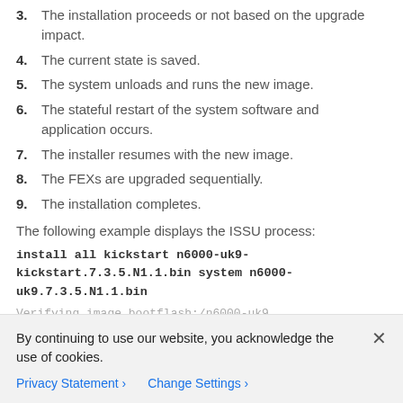3. The installation proceeds or not based on the upgrade impact.
4. The current state is saved.
5. The system unloads and runs the new image.
6. The stateful restart of the system software and application occurs.
7. The installer resumes with the new image.
8. The FEXs are upgraded sequentially.
9. The installation completes.
The following example displays the ISSU process:
install all kickstart n6000-uk9-kickstart.7.3.5.N1.1.bin system n6000-uk9.7.3.5.N1.1.bin
Verifying image bootflash:/n6000-uk9
By continuing to use our website, you acknowledge the use of cookies.
Privacy Statement > Change Settings >